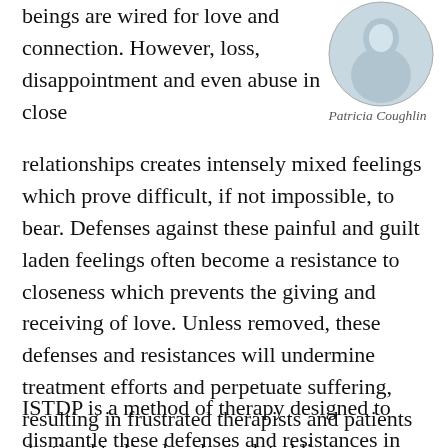beings are wired for love and connection. However, loss, disappointment and even abuse in close relationships creates intensely mixed feelings which prove difficult, if not impossible, to bear. Defenses against these painful and guilt laden feelings often become a resistance to closeness which prevents the giving and receiving of love. Unless removed, these defenses and resistances will undermine treatment efforts and perpetuate suffering, resulting in frustrated therapists and patients destined to live lonely, isolated lives.
[Figure (photo): Circular portrait photo of Patricia Coughlin]
Patricia Coughlin
ISTDP is a method of therapy designed to dismantle these defenses and resistances in